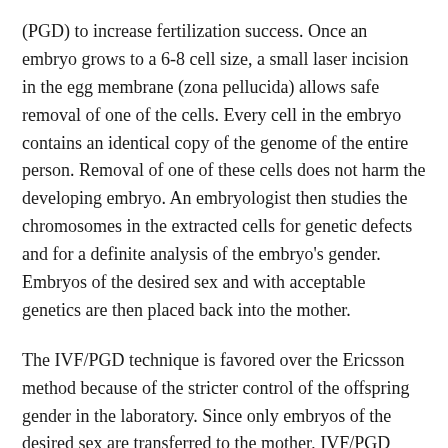(PGD) to increase fertilization success. Once an embryo grows to a 6-8 cell size, a small laser incision in the egg membrane (zona pellucida) allows safe removal of one of the cells. Every cell in the embryo contains an identical copy of the genome of the entire person. Removal of one of these cells does not harm the developing embryo. An embryologist then studies the chromosomes in the extracted cells for genetic defects and for a definite analysis of the embryo's gender. Embryos of the desired sex and with acceptable genetics are then placed back into the mother.
The IVF/PGD technique is favored over the Ericsson method because of the stricter control of the offspring gender in the laboratory. Since only embryos of the desired sex are transferred to the mother, IVF/PGD avoids the small likelihood present in the Ericsson method of an undesired sperm fertilizing the egg. Gender selection success rates for IVF/PGD are very high, and the technique is recommended for couples who will not accept a child of the undesired gender.